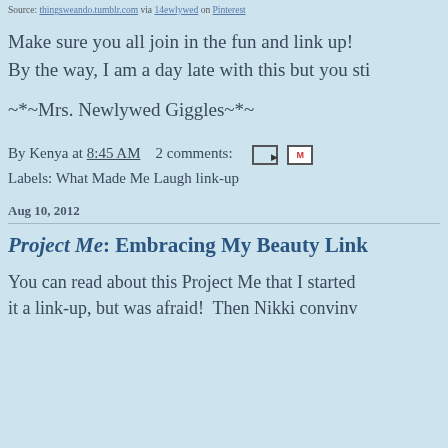Source: thingsweando.tumblr.com via 14ewlywed on Pinterest
Make sure you all join in the fun and link up! By the way, I am a day late with this but you sti…
~*~Mrs. Newlywed Giggles~*~
By Kenya at 8:45 AM    2 comments:
Labels: What Made Me Laugh link-up
Aug 10, 2012
Project Me: Embracing My Beauty Link…
You can read about this Project Me that I started… it a link-up, but was afraid!  Then Nikki convinv…